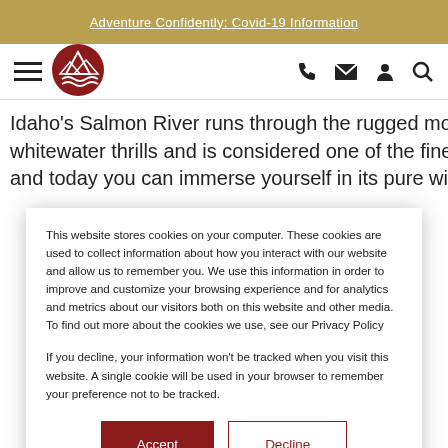Adventure Confidently: Covid-19 Information
[Figure (logo): Mountain logo with three peaks and waves, dark red circular logo for an adventure/rafting company]
Idaho's Salmon River runs through the rugged mountains whitewater thrills and is considered one of the finest rafti and today you can immerse yourself in its pure wildernes
This website stores cookies on your computer. These cookies are used to collect information about how you interact with our website and allow us to remember you. We use this information in order to improve and customize your browsing experience and for analytics and metrics about our visitors both on this website and other media. To find out more about the cookies we use, see our Privacy Policy

If you decline, your information won't be tracked when you visit this website. A single cookie will be used in your browser to remember your preference not to be tracked.